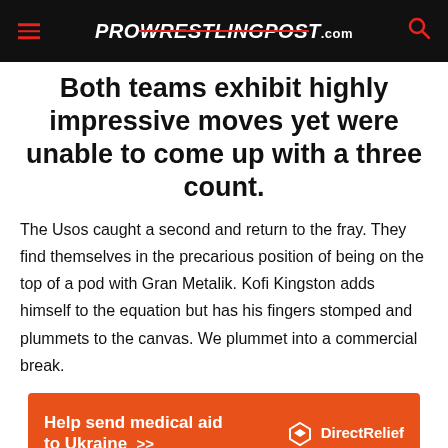ProWrestlingPost.com
Both teams exhibit highly impressive moves yet were unable to come up with a three count.
The Usos caught a second and return to the fray. They find themselves in the precarious position of being on the top of a pod with Gran Metalik. Kofi Kingston adds himself to the equation but has his fingers stomped and plummets to the canvas. We plummet into a commercial break.
[Figure (infographic): Orange advertisement banner reading 'Help send medical aid to Ukraine >>' with Direct Relief logo on the right]